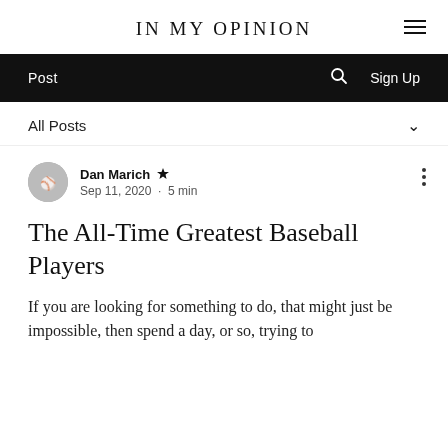IN MY OPINION
Post  🔍  Sign Up
All Posts
Dan Marich  Admin
Sep 11, 2020  •  5 min
The All-Time Greatest Baseball Players
If you are looking for something to do, that might just be impossible, then spend a day, or so, trying to